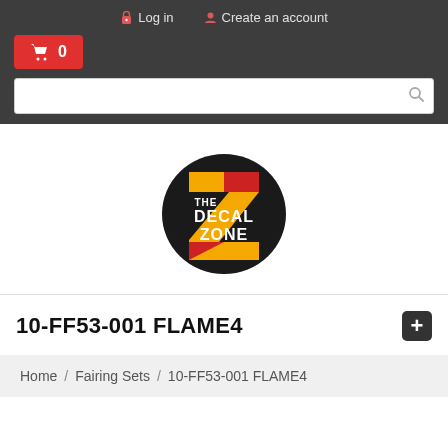Log in   Create an account
🛒 0
[Figure (logo): The Decal Zone logo — circular black background with large orange/gold Z, red accent and white bold text 'THE DECAL ZONE']
10-FF53-001 FLAME4
Home / Fairing Sets / 10-FF53-001 FLAME4